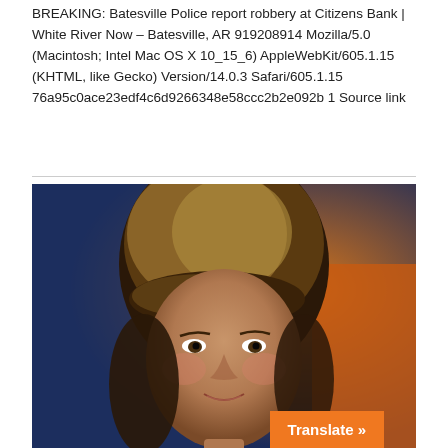BREAKING: Batesville Police report robbery at Citizens Bank | White River Now – Batesville, AR 919208914 Mozilla/5.0 (Macintosh; Intel Mac OS X 10_15_6) AppleWebKit/605.1.15 (KHTML, like Gecko) Version/14.0.3 Safari/605.1.15 76a95c0ace23edf4c6d9266348e58ccc2b2e092b 1 Source link
[Figure (photo): Close-up photograph of a woman with brown hair and bangs, smiling slightly, with a blurred colorful background.]